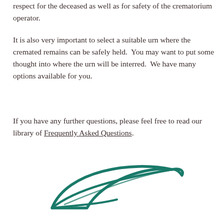respect for the deceased as well as for safety of the crematorium operator.
It is also very important to select a suitable urn where the cremated remains can be safely held.  You may want to put some thought into where the urn will be interred.  We have many options available for you.
If you have any further questions, please feel free to read our library of Frequently Asked Questions.
[Figure (logo): Teal/dark green stylized leaf logo with cursive text below, partially visible at bottom of page]